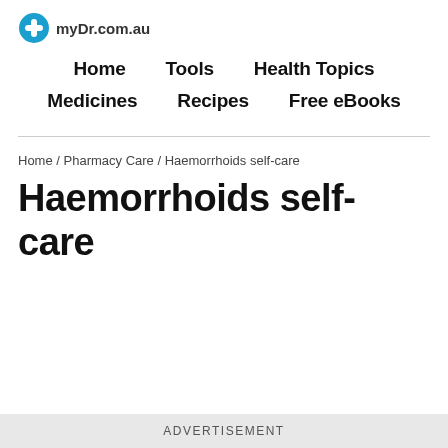myDr.com.au
Home / Tools / Health Topics / Medicines / Recipes / Free eBooks
Home / Pharmacy Care / Haemorrhoids self-care
Haemorrhoids self-care
ADVERTISEMENT